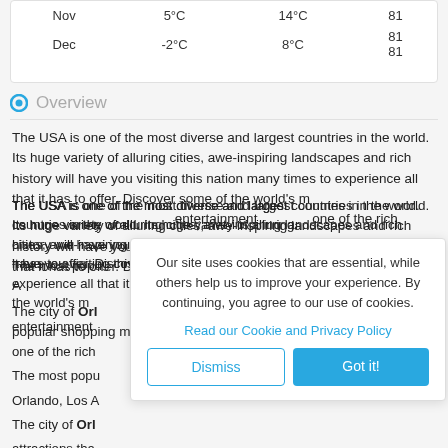|  |  |  |  |
| --- | --- | --- | --- |
| Nov | 5°C | 14°C | 81 |
| Dec | -2°C | 8°C | 81
81 |
Overview
The USA is one of the most diverse and largest countries in the world. Its huge variety of alluring cities, awe-inspiring landscapes and rich history will have you visiting this nation many times to experience all that it has to offer. Discover some of the world's most impressive national parks, world-class entertainment and some of the greatest cities on earth. The USA is one of the richest countries in the world.
The most popular cities in the USA are New York, Chicago, Orlando, Los Angeles and Las Vegas.
The city of Orlando has some of the most incredible tourist attractions that you will ever find. Visit some of the country's most popular shopping malls, enjoy thrilling rides at Walt Disney World and explore beautiful resort complexes. Other...
Our site uses cookies that are essential, while others help us to improve your experience. By continuing, you agree to our use of cookies.
Read our Cookie and Privacy Policy
Dismiss  Got it!